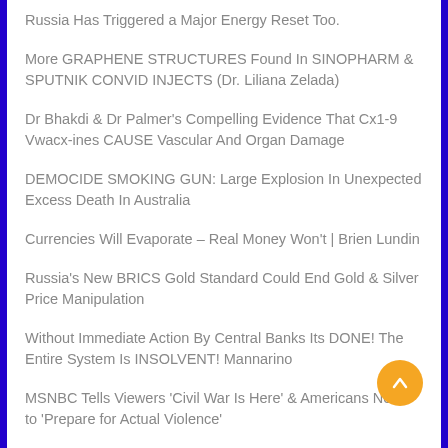Russia Has Triggered a Major Energy Reset Too.
More GRAPHENE STRUCTURES Found In SINOPHARM & SPUTNIK CONVID INJECTS (Dr. Liliana Zelada)
Dr Bhakdi & Dr Palmer's Compelling Evidence That Cx1-9 Vwacx-ines CAUSE Vascular And Organ Damage
DEMOCIDE SMOKING GUN: Large Explosion In Unexpected Excess Death In Australia
Currencies Will Evaporate – Real Money Won't | Brien Lundin
Russia's New BRICS Gold Standard Could End Gold & Silver Price Manipulation
Without Immediate Action By Central Banks Its DONE! The Entire System Is INSOLVENT! Mannarino
MSNBC Tells Viewers 'Civil War Is Here' & Americans Need to 'Prepare for Actual Violence'
US NatGas Hits 14-Year-High, EU Benchmarks Explode